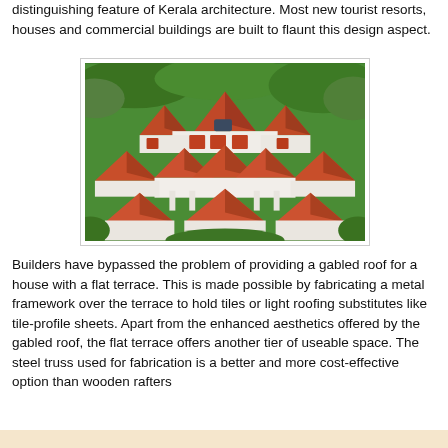distinguishing feature of Kerala architecture. Most new tourist resorts, houses and commercial buildings are built to flaunt this design aspect.
[Figure (photo): Aerial view of a Kerala-style house with distinctive red tiled sloping/gabled roofs arranged in multiple pyramidal sections, surrounded by dense green tropical vegetation.]
Builders have bypassed the problem of providing a gabled roof for a house with a flat terrace. This is made possible by fabricating a metal framework over the terrace to hold tiles or light roofing substitutes like tile-profile sheets. Apart from the enhanced aesthetics offered by the gabled roof, the flat terrace offers another tier of useable space. The steel truss used for fabrication is a better and more cost-effective option than wooden rafters